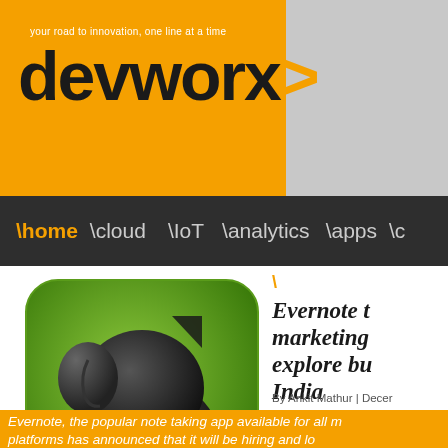devworx> — your road to innovation, one line at a time
\home  \cloud  \IoT  \analytics  \apps  \c
[Figure (logo): Evernote app logo — elephant icon on green rounded square background]
Evernote t marketing explore bu India
By Ankit Mathur | Decer
0 Comments   Tweet   Sh
Evernote, the popular note taking app available for all m platforms has announced that it will be hiring and lo